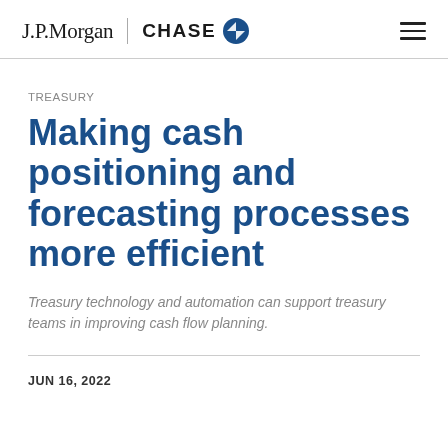J.P.Morgan | CHASE
TREASURY
Making cash positioning and forecasting processes more efficient
Treasury technology and automation can support treasury teams in improving cash flow planning.
JUN 16, 2022